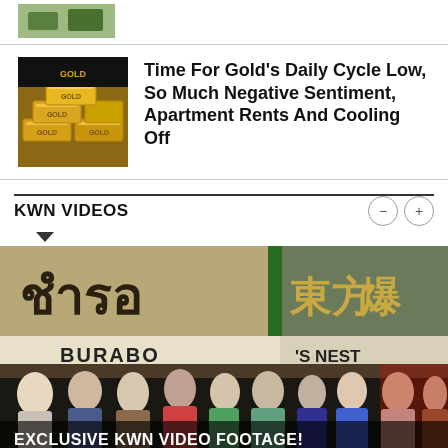[Figure (photo): Partial article thumbnail at top of page, partially cropped green/natural image]
[Figure (photo): Gold bars thumbnail image for article about gold cycle]
Time For Gold's Daily Cycle Low, So Much Negative Sentiment, Apartment Rents And Cooling Off
KWN VIDEOS
[Figure (photo): Street market scene with Asian signage including Thai and Chinese characters, crowds of people in front of shops labeled BURABO and S NEST with Chinese characters 東方燕窩. Overlay text: EXCLUSIVE KWN VIDEO FOOTAGE!]
EXCLUSIVE KWN VIDEO FOOTAGE!